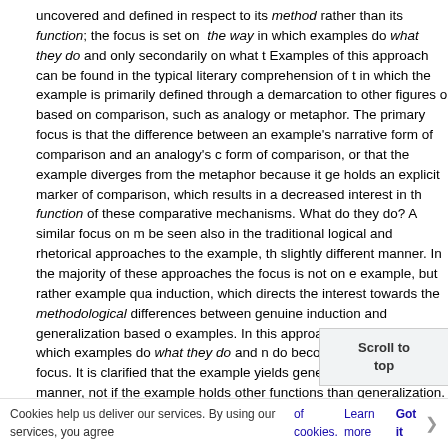uncovered and defined in respect to its method rather than its function; the focus is set on the way in which examples do what they do and only secondarily on what they do. Examples of this approach can be found in the typical literary comprehension of the example, in which the example is primarily defined through a demarcation to other figures of speech based on comparison, such as analogy or metaphor. The primary focus is that the difference between an example's narrative form of comparison and an analogy's condensed form of comparison, or that the example diverges from the metaphor because it generally holds an explicit marker of comparison, which results in a decreased interest in the function of these comparative mechanisms. What do they do? A similar focus on method can be seen also in the traditional logical and rhetorical approaches to the example, though in a slightly different manner. In the majority of these approaches the focus is not on example qua example, but rather example qua induction, which directs the interest towards the methodological differences between genuine induction and generalization based on examples. In this approach too, the way in which examples do what they do and not what they do becomes the primary focus. It is clarified that the example yields generalization in a different manner, not if the example holds other functions than generalization.
It is in relation to these methodological focus, that my examination of the function of examples must be perceived. In this paper I will argue, that by separating the different functions of the example we will have to ad a topical comprehension of examples to support the statement, it seems necessary however first to take a closer look at how the example has traditionally been comprehended. I will firstly mention the...